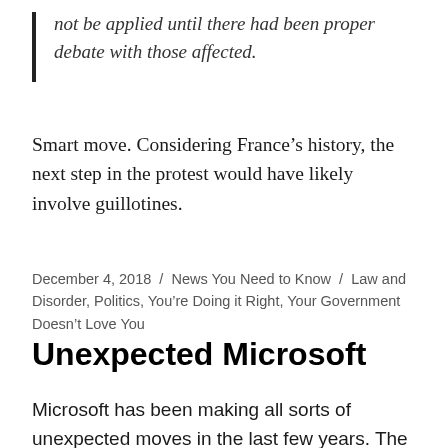not be applied until there had been proper debate with those affected.
Smart move. Considering France’s history, the next step in the protest would have likely involve guillotines.
December 4, 2018 / News You Need to Know / Law and Disorder, Politics, You’re Doing it Right, Your Government Doesn’t Love You
Unexpected Microsoft
Microsoft has been making all sorts of unexpected moves in the last few years. The company released Visual Studio Code, which is not only an excellent code editing environment but available under the open source MIT